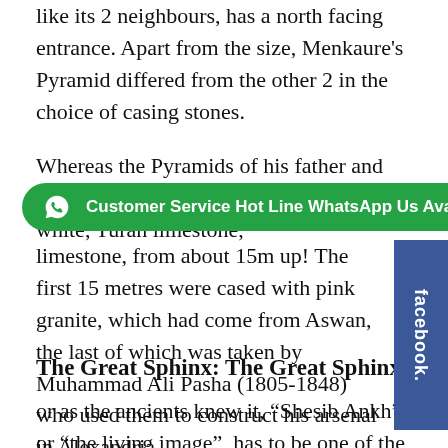like its 2 neighbours, has a north facing entrance. Apart from the size, Menkaure's Pyramid differed from the other 2 in the choice of casing stones.
Whereas the Pyramids of his father and grandfather were completely cased in fine, white, Turah limestone, [WhatsApp banner] limestone, from about 15m up! The first 15 metres were cased with pink granite, which had come from Aswan, the last of which was taken by Muhammad Ali Pasha (1805-1848) who used them to construct his arsenal in Alexandria.
The Great Sphinx: The Great Sphinx,
or as the ancients knew it, “Shesib Ankh” or “the living image”, has to be one of the most recognizable